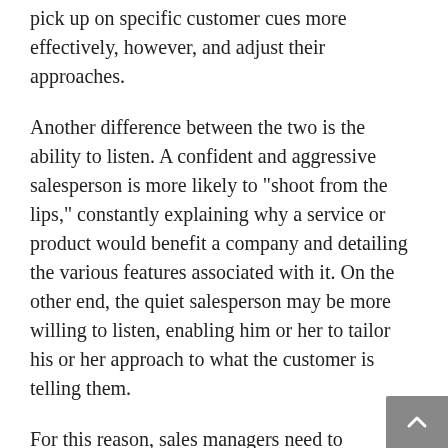pick up on specific customer cues more effectively, however, and adjust their approaches.
Another difference between the two is the ability to listen. A confident and aggressive salesperson is more likely to "shoot from the lips," constantly explaining why a service or product would benefit a company and detailing the various features associated with it. On the other end, the quiet salesperson may be more willing to listen, enabling him or her to tailor his or her approach to what the customer is telling them.
For this reason, sales managers need to